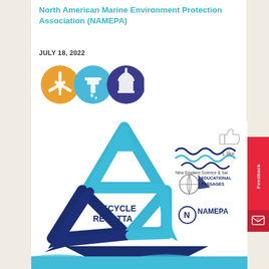North American Marine Environment Protection Association (NAMEPA)
JULY 18, 2022
[Figure (illustration): Three circular topic icons: orange wind turbine, blue water faucet, and dark blue/purple government building with dome]
[Figure (illustration): Recycle Regatta promotional image showing a blue recycling triangle made of arrows with 'RECYCLE REGATTA' text, a boat silhouette at bottom, and logos for New England Science & Sail, Educational Passages, and NAMEPA]
1 like